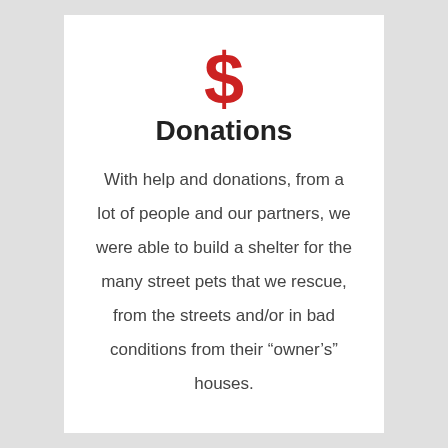[Figure (other): Large red dollar sign symbol ($) used as an icon]
Donations
With help and donations, from a lot of people and our partners, we were able to build a shelter for the many street pets that we rescue, from the streets and/or in bad conditions from their “owner’s” houses.